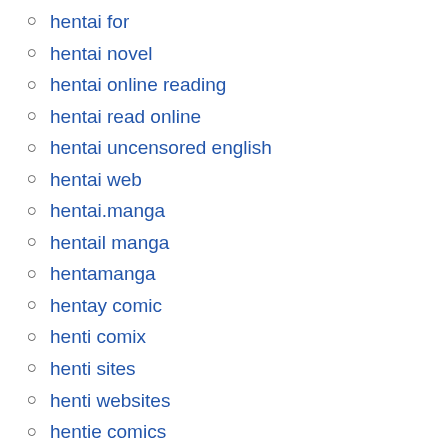hentai for
hentai novel
hentai online reading
hentai read online
hentai uncensored english
hentai web
hentai.manga
hentail manga
hentamanga
hentay comic
henti comix
henti sites
henti websites
hentie comics
hentie sex
hentqi comics
hentwi
hintae
hot echi
in series hentai